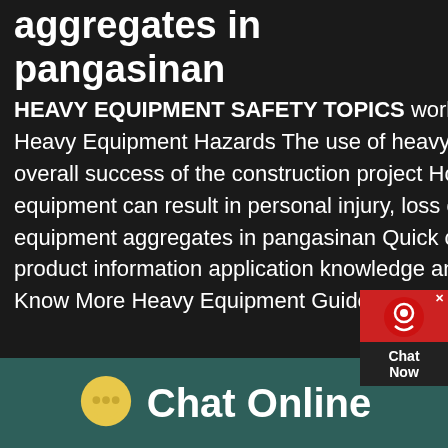aggregates in pangasinan
HEAVY EQUIPMENT SAFETY TOPICS working around heavy equipment Oct 07, 2019 0183 32 Heavy Equipment Hazards The use of heavy equipment on a Jobsite is vital and necessary to the overall success of the construction project However, unauthorized or unwise use of heavy equipment can result in personal injury, loss of life, or severe loss to materials needed toheavy equipment aggregates in pangasinan Quick contact to help Our staff shall wholeheartedly provide product information application knowledge and good service for you Contact Us Aggregates Know More Heavy Equipment Guide covers the latest industry
[Figure (other): Chat Now widget overlay with red background and headset icon]
Chat Online